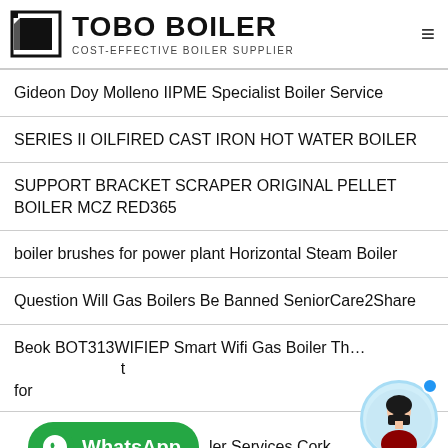TOBO BOILER — COST-EFFECTIVE BOILER SUPPLIER
Gideon Doy Molleno IIPME Specialist Boiler Service
SERIES II OILFIRED CAST IRON HOT WATER BOILER
SUPPORT BRACKET SCRAPER ORIGINAL PELLET BOILER MCZ RED365
boiler brushes for power plant Horizontal Steam Boiler
Question Will Gas Boilers Be Banned SeniorCare2Share
Beok BOT313WIFIEP Smart Wifi Gas Boiler Th... for
WhatsApp  ...ler Services Cork
Boiler Repair Cover How To Choose The Right Plan